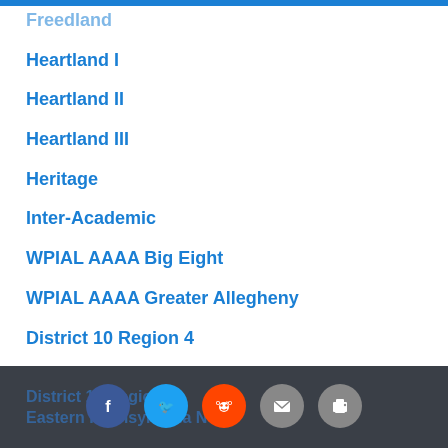Freedland
Heartland I
Heartland II
Heartland III
Heritage
Inter-Academic
WPIAL AAAA Big Eight
WPIAL AAAA Greater Allegheny
District 10 Region 4
District 10 Region 5
District 10 Region 6
District 10 Region 7
District 10 Region 8
Eastern Pennsylvania North